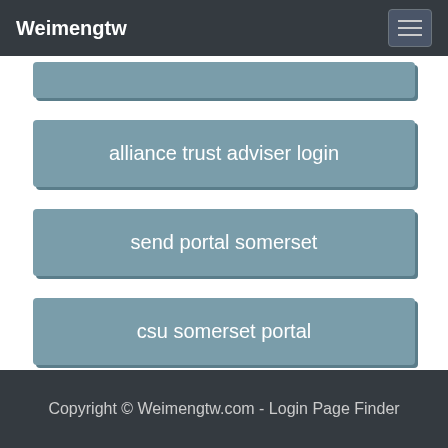Weimengtw
alliance trust adviser login
send portal somerset
csu somerset portal
Copyright © Weimengtw.com - Login Page Finder